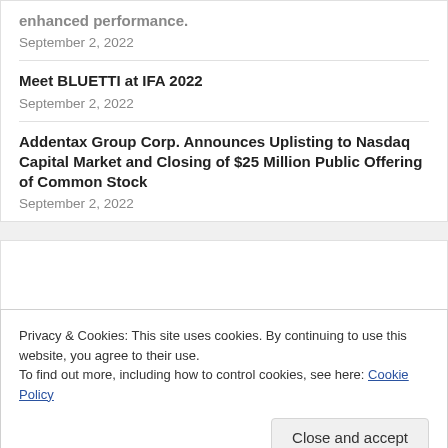enhanced performance.
September 2, 2022
Meet BLUETTI at IFA 2022
September 2, 2022
Addentax Group Corp. Announces Uplisting to Nasdaq Capital Market and Closing of $25 Million Public Offering of Common Stock
September 2, 2022
Privacy & Cookies: This site uses cookies. By continuing to use this website, you agree to their use.
To find out more, including how to control cookies, see here: Cookie Policy
Close and accept
[Figure (logo): LEAGUE logo in white text on black background, with parentheses on either side]